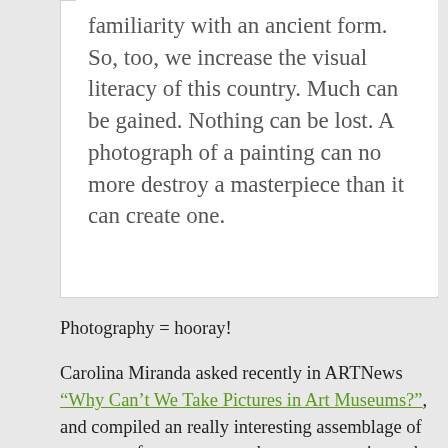familiarity with an ancient form. So, too, we increase the visual literacy of this country. Much can be gained. Nothing can be lost. A photograph of a painting can no more destroy a masterpiece than it can create one.
Photography = hooray!
Carolina Miranda asked recently in ARTNews “Why Can’t We Take Pictures in Art Museums?”, and compiled an really interesting assemblage of responses from museums that are attempting to be more responsive in their